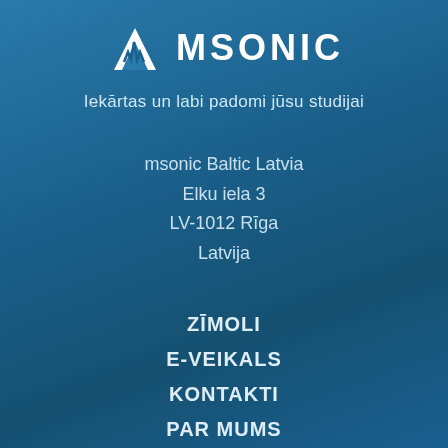[Figure (logo): MSONIC logo with stylized M waveform icon and bold white text 'MSONIC']
Iekārtas un labi padomi jūsu studijai
msonic Baltic Latvia
Elku iela 3
LV-1012 Rīga
Latvija
ZĪMOLI
E-VEIKALS
KONTAKTI
PAR MUMS
APMĀCĪBAS